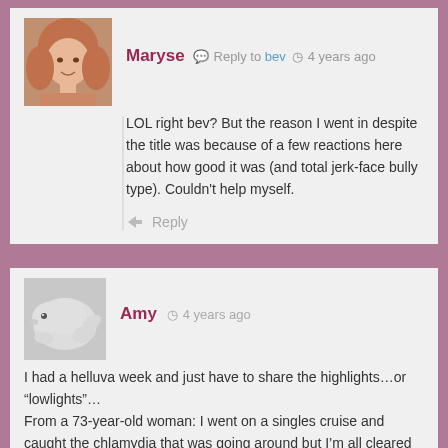Maryse · Reply to bev · 4 years ago
LOL right bev? But the reason I went in despite the title was because of a few reactions here about how good it was (and total jerk-face bully type). Couldn't help myself.
Reply
Amy · 4 years ago
I had a helluva week and just have to share the highlights…or "lowlights"…
From a 73-year-old woman: I went on a singles cruise and caught the chlamydia that was going around but I'm all cleared up now. Can I donate?
*blink*